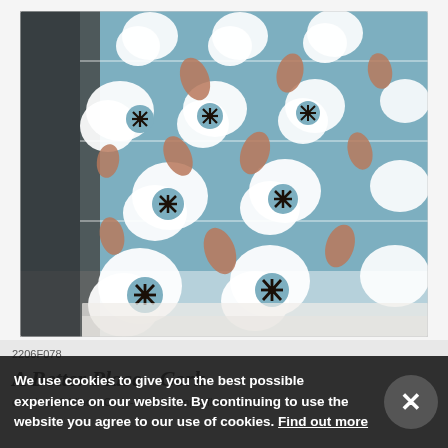[Figure (photo): Close-up photograph of a folded fabric/cushion with a retro floral pattern on a blue/teal background. The pattern features white flower shapes with dark star/asterisk centers alternating with brown/copper leaf shapes arranged in a regular grid pattern.]
2206F078
A Better Place - Cork
cushions & blinds, Cork - A fairly simple floral design in
We use cookies to give you the best possible experience on our website. By continuing to use the website you agree to our use of cookies. Find out more